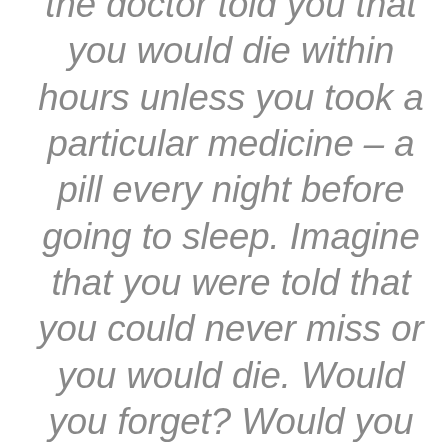the doctor told you that you would die within hours unless you took a particular medicine – a pill every night before going to sleep. Imagine that you were told that you could never miss or you would die. Would you forget? Would you not get around to it for some nights? No – it would be so crucial that you wouldn't forget, you would never